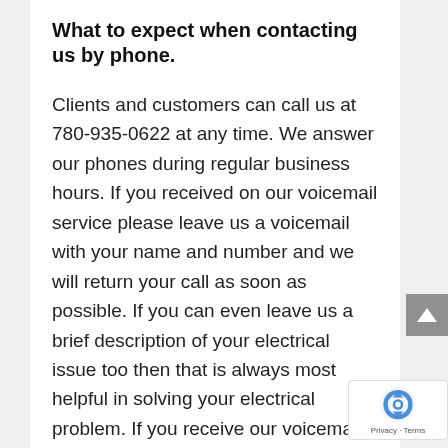What to expect when contacting us by phone.
Clients and customers can call us at 780-935-0622 at any time. We answer our phones during regular business hours. If you received on our voicemail service please leave us a voicemail with your name and number and we will return your call as soon as possible. If you can even leave us a brief description of your electrical issue too then that is always most helpful in solving your electrical problem. If you receive our voicemail service during regular business hours we are more than likely on the phone helping another happy customer with their electrical issues. If you are calling after hours then you will be